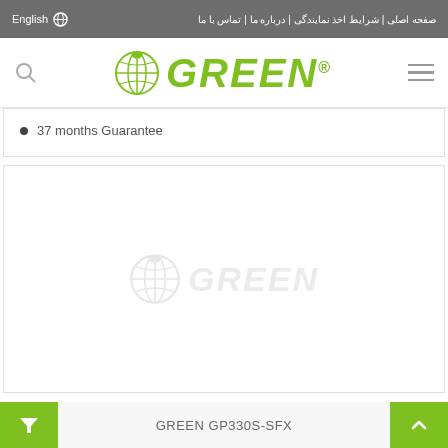English | صفحه اصلی | شرایط اخذ نمایندگی | درباره ما | تماس با ما
[Figure (logo): GREEN brand logo with globe/leaf icon, green bold italic text, registered trademark symbol]
37 months Guarantee
[Figure (photo): White product image area with GREEN watermark logo in light gray]
GREEN GP330S-SFX